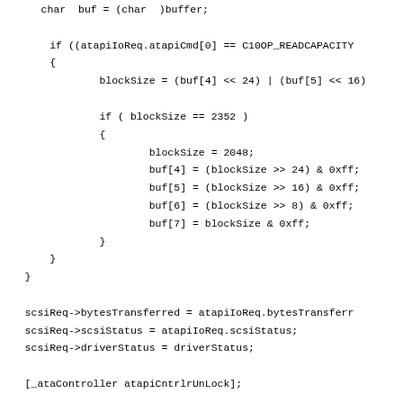char  buf = (char  )buffer;

        if ((atapiIoReq.atapiCmd[0] == C10OP_READCAPACITY
        {
                blockSize = (buf[4] << 24) | (buf[5] << 16)

                if ( blockSize == 2352 )
                {
                        blockSize = 2048;
                        buf[4] = (blockSize >> 24) & 0xff;
                        buf[5] = (blockSize >> 16) & 0xff;
                        buf[6] = (blockSize >> 8) & 0xff;
                        buf[7] = blockSize & 0xff;
                }
        }
    }

    scsiReq->bytesTransferred = atapiIoReq.bytesTransferr
    scsiReq->scsiStatus = atapiIoReq.scsiStatus;
    scsiReq->driverStatus = driverStatus;

    [_ataController atapiCntrlrUnLock];

    return ret;
}

- (BOOL) maptoAtapiCmd:(atapiIoReq_t *)atapiIoReq buffer
{
    int i, pageLength;
    unsigned char *data = (unsigned char *)buffer;